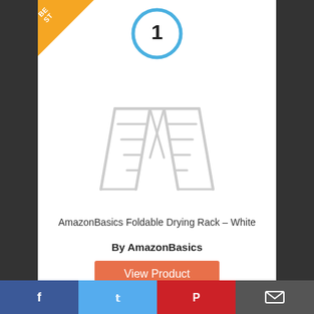[Figure (other): Rank badge: golden triangle corner with 'BE...' text, and blue circle with number 1]
[Figure (photo): AmazonBasics Foldable Drying Rack product photo - white metal folding laundry rack with multiple horizontal bars]
AmazonBasics Foldable Drying Rack – White
By AmazonBasics
View Product
9.7
Score
[Figure (infographic): Social sharing bar with Facebook, Twitter, Pinterest, and Email icons]